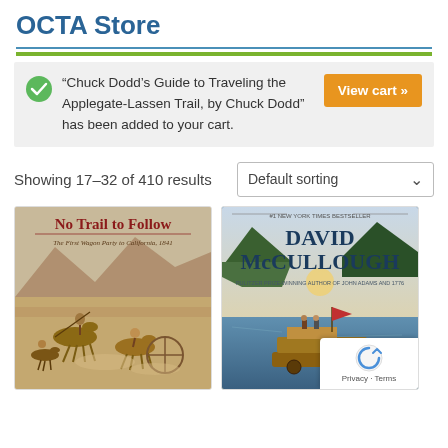OCTA Store
“Chuck Dodd’s Guide to Traveling the Applegate-Lassen Trail, by Chuck Dodd” has been added to your cart.
View cart »
Showing 17–32 of 410 results
Default sorting
[Figure (illustration): Book cover: No Trail to Follow - The First Wagon Party to California, 1841. Shows a historical painting of covered wagon travelers on horseback.]
[Figure (illustration): Book cover: David McCullough - #1 New York Times Bestseller. Pulitzer Prize-Winning Author of John Adams and 1776. Shows a river landscape with mountains and a boat.]